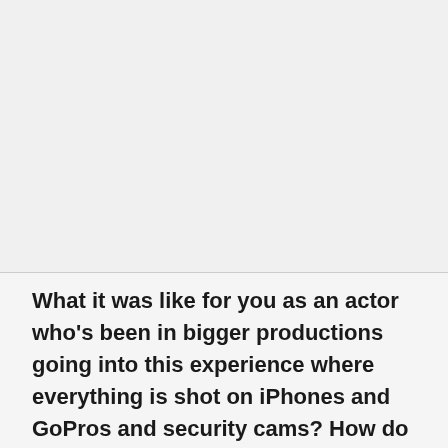[Figure (photo): Large image area, mostly light gray/blank, occupying the upper portion of the page]
What it was like for you as an actor who's been in bigger productions going into this experience where everything is shot on iPhones and GoPros and security cams? How do you perform in such a